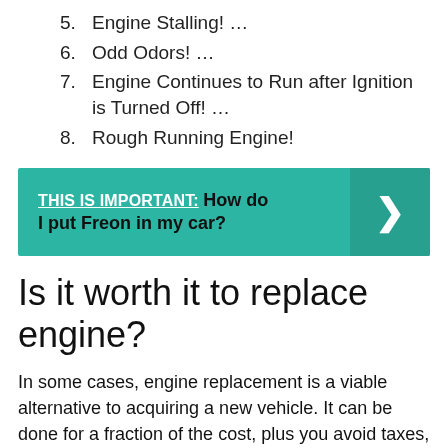5. Engine Stalling! …
6. Odd Odors! …
7. Engine Continues to Run after Ignition is Turned Off! …
8. Rough Running Engine!
[Figure (infographic): Teal banner with text THIS IS IMPORTANT: How do I put Freon in my car? and a right-arrow chevron on the right side]
Is it worth it to replace engine?
In some cases, engine replacement is a viable alternative to acquiring a new vehicle. It can be done for a fraction of the cost, plus you avoid taxes, license fees, and insurance expenses that are incurred in vehicle